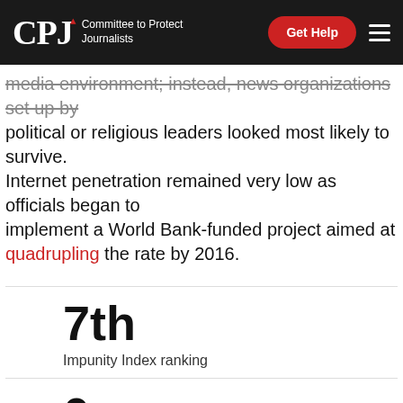CPJ — Committee to Protect Journalists | Get Help
media environment; instead, news organizations set up by political or religious leaders looked most likely to survive. Internet penetration remained very low as officials began to implement a World Bank-funded project aimed at quadrupling the rate by 2016.
7th
Impunity Index ranking
0
Killed in 2012